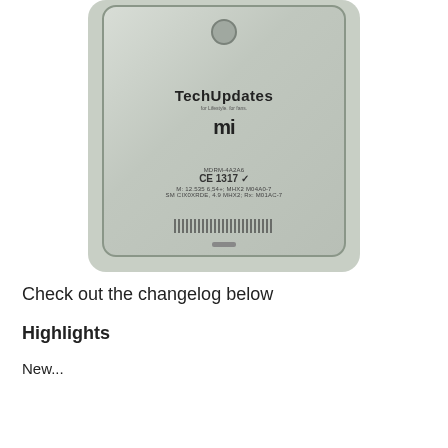[Figure (photo): Back of a Xiaomi Mi smartphone (silver/green) placed on a light surface, showing fingerprint sensor, Mi logo, TechUpdates watermark, CE certification markings, and barcode.]
Check out the changelog below
Highlights
New...